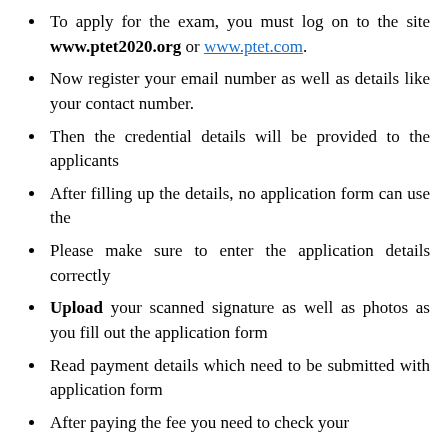To apply for the exam, you must log on to the site www.ptet2020.org or www.ptet.com.
Now register your email number as well as details like your contact number.
Then the credential details will be provided to the applicants
After filling up the details, no application form can use the
Please make sure to enter the application details correctly
Upload your scanned signature as well as photos as you fill out the application form
Read payment details which need to be submitted with application form
After paying the fee you need to check your